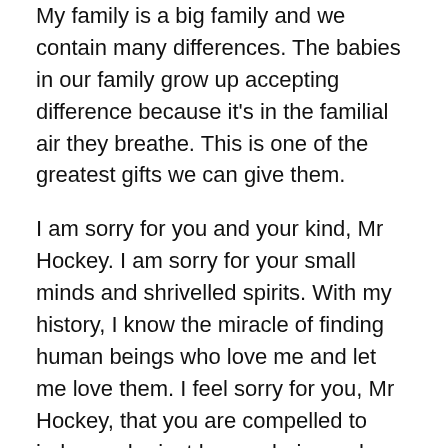My family is a big family and we contain many differences. The babies in our family grow up accepting difference because it's in the familial air they breathe. This is one of the greatest gifts we can give them.
I am sorry for you and your kind, Mr Hockey. I am sorry for your small minds and shrivelled spirits. With my history, I know the miracle of finding human beings who love me and let me love them. I feel sorry for you, Mr Hockey, that you are compelled to judge and reject human beings who don't fit your narrow vision of what families should be. Maybe if like me, you'd lived in darkness from which you never imagined you'd emerge, you wouldn't be so damn picky.
I don't think you will win this battle. There are too many of us who can say, echoing the magnificent words of Penny Wong: "I know what my family is worth." I know what my